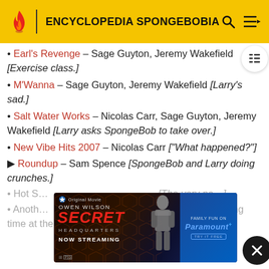ENCYCLOPEDIA SPONGEBOBIA
Earl's Revenge – Sage Guyton, Jeremy Wakefield [Exercise class.]
M'Wanna – Sage Guyton, Jeremy Wakefield [Larry's sad.]
Salt Water Works – Nicolas Carr, Sage Guyton, Jeremy Wakefield [Larry asks SpongeBob to take over.]
New Vibe Hits 2007 – Nicolas Carr ["What happened?"]
Roundup – Sam Spence [SpongeBob and Larry doing crunches.]
Hot S... [The very ne...]
Anoth... Nicolas Carr [Closing time at the Krusty Krab.]
[Figure (screenshot): Ad banner for Owen Wilson Secret Headquarters movie, now streaming on Paramount+]